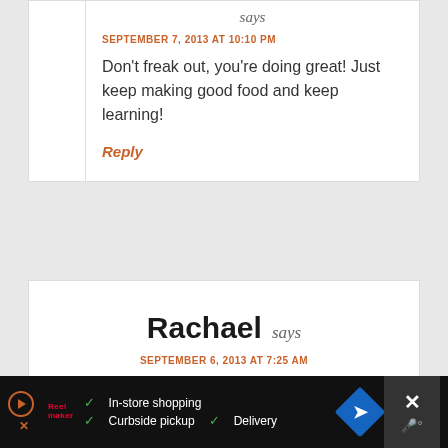says
SEPTEMBER 7, 2013 AT 10:10 PM
Don't freak out, you're doing great! Just keep making good food and keep learning!
Reply
Rachael says
SEPTEMBER 6, 2013 AT 7:25 AM
In-store shopping  Curbside pickup  Delivery